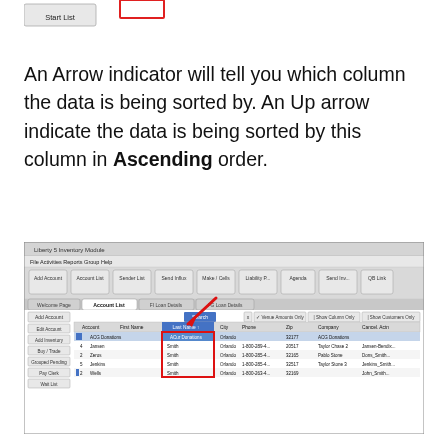[Figure (screenshot): Partial screenshot at top showing a button labeled 'Start List' and a red rectangle highlight]
An Arrow indicator will tell you which column the data is being sorted by. An Up arrow indicate the data is being sorted by this column in Ascending order.
[Figure (screenshot): Screenshot of Liberty 5 Inventory Module showing the Account List tab with a table of accounts. A red arrow points to the 'Last Name' column header which is highlighted in blue, and a red rectangle outlines the Last Name column cells. The table shows accounts including ACG Donations entries with city Orlando and zip codes.]